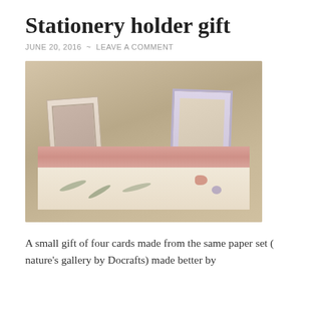Stationery holder gift
JUNE 20, 2016  ~  LEAVE A COMMENT
[Figure (photo): A handmade stationery holder made from botanical-patterned wrapping paper (nature's gallery by Docrafts) with a pink/coral stripe, holding four decorated cards with nature-themed designs including birds and flowers, set against a textured beige background.]
A small gift of four cards made from the same paper set ( nature's gallery by Docrafts) made better by accompanying the carrier folder.